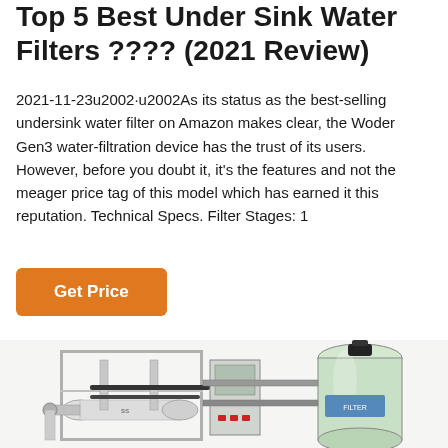Top 5 Best Under Sink Water Filters ???? (2021 Review)
2021-11-23u2002·u2002As its status as the best-selling undersink water filter on Amazon makes clear, the Woder Gen3 water-filtration device has the trust of its users. However, before you doubt it, it's the features and not the meager price tag of this model which has earned it this reputation. Technical Specs. Filter Stages: 1
[Figure (other): Industrial water filtration system with stainless steel frame, cylindrical membrane modules, pipes, valves, and a large green pressure tank with control panel]